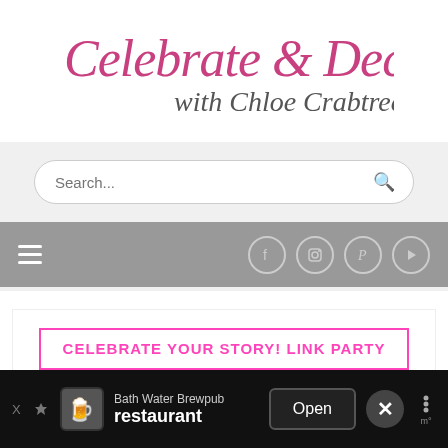[Figure (logo): Celebrate & Decorate with Chloe Crabtree cursive logo in pink and dark grey on white background]
[Figure (screenshot): Search bar with rounded rectangle, placeholder text 'Search...' and a search icon on the right, on light grey background]
[Figure (screenshot): Grey navigation bar with hamburger menu icon on left and four social media circle icons (Facebook, Instagram, Pinterest, YouTube) on right]
CELEBRATE YOUR STORY! LINK PARTY
Celebrate Your